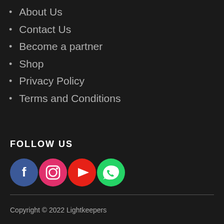About Us
Contact Us
Become a partner
Shop
Privacy Policy
Terms and Conditions
FOLLOW US
[Figure (infographic): Row of four social media icon circles: Facebook (blue), Instagram (pink/red), YouTube (red), WhatsApp (green)]
Copyright © 2022 Lightkeepers